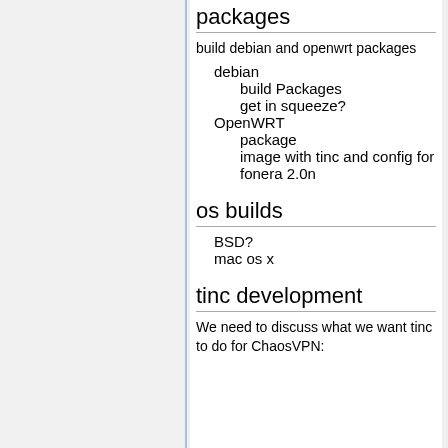packages
build debian and openwrt packages
debian
build Packages
get in squeeze?
OpenWRT
package
image with tinc and config for fonera 2.0n
os builds
BSD?
mac os x
tinc development
We need to discuss what we want tinc to do for ChaosVPN: